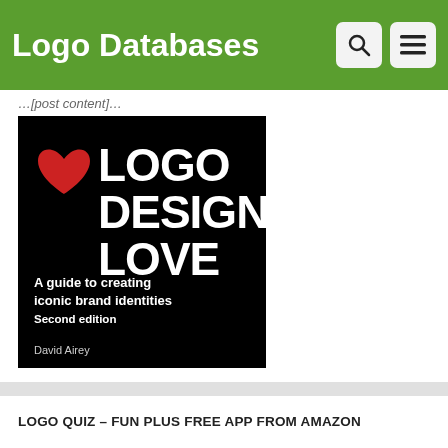Logo Databases
…[post content]…
[Figure (photo): Book cover of Logo Design Love, Second Edition by David Airey. Black background with large white bold text reading LOGO DESIGN LOVE, a red heart icon, subtitle 'A guide to creating iconic brand identities', 'Second edition', and author name 'David Airey' at the bottom.]
LOGO QUIZ – FUN PLUS FREE APP FROM AMAZON